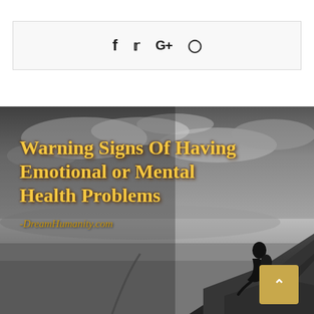[Figure (other): Social media share bar with Facebook, Twitter, Google+, and Pinterest icons on light grey background with border]
[Figure (photo): Black and white dramatic landscape photo showing a person sitting on a rocky cliff edge overlooking a vast misty valley under a cloudy sky, with overlay text 'Warning Signs Of Having Emotional or Mental Health Problems' in bold gold/yellow serif font and '-DreamHumanity.com' in italic below, and a gold scroll-to-top button in the bottom right corner]